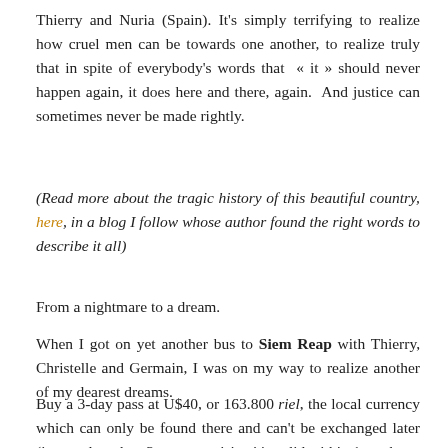Thierry and Nuria (Spain). It's simply terrifying to realize how cruel men can be towards one another, to realize truly that in spite of everybody's words that « it » should never happen again, it does here and there, again.  And justice can sometimes never be made rightly.
(Read more about the tragic history of this beautiful country, here, in a blog I follow whose author found the right words to describe it all)
From a nightmare to a dream.
When I got on yet another bus to Siem Reap with Thierry, Christelle and Germain, I was on my way to realize another of my dearest dreams.
Buy a 3-day pass at U$40, or 163.800 riel, the local currency which can only be found there and can't be exchanged later (it costs less than 3 separate visits, it's valid within 1 week; a